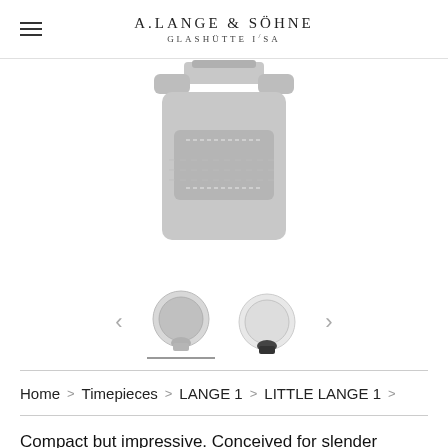A. LANGE & SÖHNE GLASHÜTTE I/SA
[Figure (photo): Close-up of a watch clasp and gray leather strap from an A. Lange & Söhne watch, viewed from above.]
[Figure (photo): Thumbnail carousel showing two A. Lange & Söhne watches with gray and black leather straps, with left and right navigation arrows.]
Home > Timepieces > LANGE 1 > LITTLE LANGE 1 >
Compact but impressive. Conceived for slender